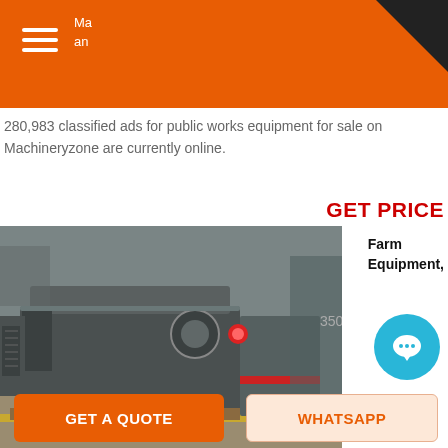Machineryzone
280,983 classified ads for public works equipment for sale on Machineryzone are currently online.
GET PRICE
Farm Equipment,
[Figure (photo): Large industrial construction/mining equipment in a warehouse — a heavy grey metal machine on a wooden pallet with red-highlighted parts, photographed in a factory setting.]
Construction Equipment ...
Used Farm Heavy Equipment, Trucks Trailers for sale at : #...st
GET A QUOTE
WHATSAPP